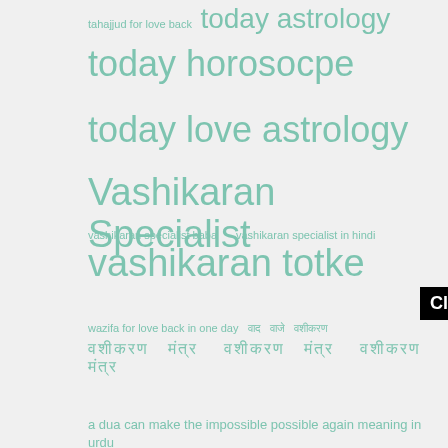tahajjud for love back  today astrology
today horosocpe
today love astrology
Vashikaran Specialist
vashikaran specialist baba  vashikaran specialist in hindi
vashikaran totke
[Figure (other): Click to Consult on Whatsapp button]
wazifa for love back in one day  वाद  वाजे  वशीकरण
वशीकरण मंत्र  वशीकरण मंत्र  वशीकरण मंत्र
a dua can make the impossible possible again meaning in urdu